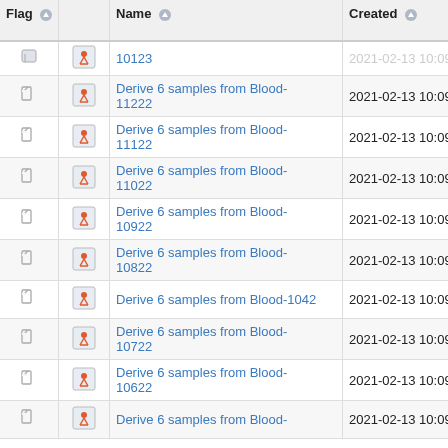| Flag |  | Name | Created | Cre... By |
| --- | --- | --- | --- | --- |
|  |  | 10123 | 2021-02-13 10:09 | ste... |
|  |  | Derive 6 samples from Blood-11222 | 2021-02-13 10:09 | ste... |
|  |  | Derive 6 samples from Blood-11122 | 2021-02-13 10:09 | ste... |
|  |  | Derive 6 samples from Blood-11022 | 2021-02-13 10:09 | ste... |
|  |  | Derive 6 samples from Blood-10922 | 2021-02-13 10:09 | ste... |
|  |  | Derive 6 samples from Blood-10822 | 2021-02-13 10:09 | ste... |
|  |  | Derive 6 samples from Blood-1042 | 2021-02-13 10:09 | ste... |
|  |  | Derive 6 samples from Blood-10722 | 2021-02-13 10:09 | ste... |
|  |  | Derive 6 samples from Blood-10622 | 2021-02-13 10:09 | ste... |
|  |  | Derive 6 samples from Blood- | 2021-02-13 10:09 | ste... |